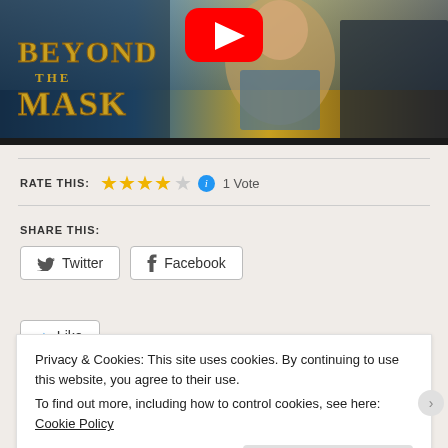[Figure (screenshot): Movie banner/thumbnail for 'Beyond the Mask' with YouTube play button overlay, showing fantasy characters and movie title text]
RATE THIS: ★★★★☆ ℹ 1 Vote
SHARE THIS:
Twitter  Facebook
Like
Privacy & Cookies: This site uses cookies. By continuing to use this website, you agree to their use.
To find out more, including how to control cookies, see here: Cookie Policy
Close and accept